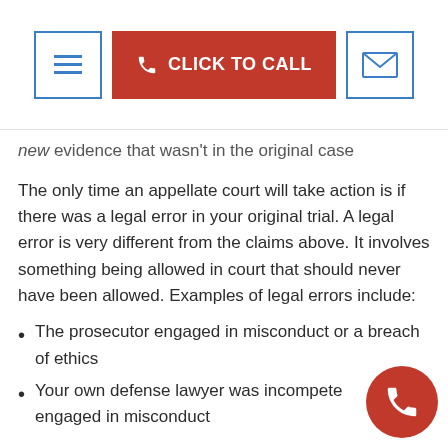CLICK TO CALL
new evidence that wasn't in the original case
The only time an appellate court will take action is if there was a legal error in your original trial. A legal error is very different from the claims above. It involves something being allowed in court that should never have been allowed. Examples of legal errors include:
The prosecutor engaged in misconduct or a breach of ethics
Your own defense lawyer was incompetent or engaged in misconduct